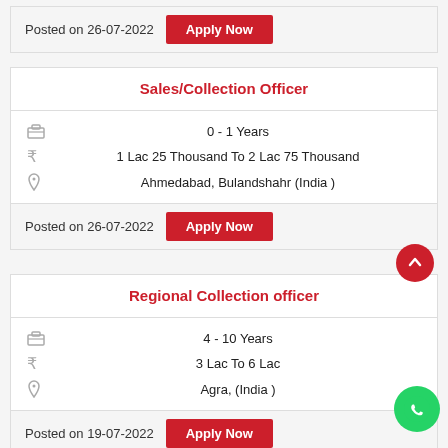Posted on 26-07-2022 Apply Now
Sales/Collection Officer
0 - 1 Years
1 Lac 25 Thousand To 2 Lac 75 Thousand
Ahmedabad, Bulandshahr (India )
Posted on 26-07-2022 Apply Now
Regional Collection officer
4 - 10 Years
3 Lac To 6 Lac
Agra, (India )
Posted on 19-07-2022 Apply Now